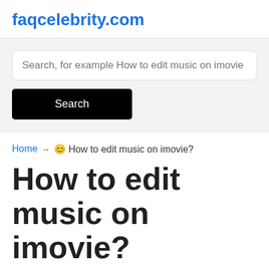faqcelebrity.com
[Figure (screenshot): Search bar with placeholder text 'Search, for example How to edit music on imovie' and a black Search button below]
Home → 😊 How to edit music on imovie?
How to edit music on imovie?